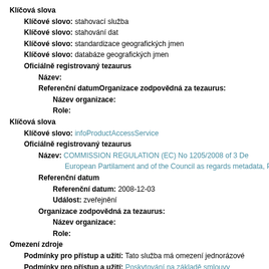Klíčová slova
Klíčové slovo: stahovací služba
Klíčové slovo: stahování dat
Klíčové slovo: standardizace geografických jmen
Klíčové slovo: databáze geografických jmen
Oficiálně registrovaný tezaurus
Název:
Referenční datumOrganizace zodpovědná za tezaurus:
Název organizace:
Role:
Klíčová slova
Klíčové slovo: infoProductAccessService
Oficiálně registrovaný tezaurus
Název: COMMISSION REGULATION (EC) No 1205/2008 of 3 De European Partilament and of the Council as regards metadata, Pa
Referenční datum
Referenční datum: 2008-12-03
Událost: zveřejnění
Organizace zodpovědná za tezaurus:
Název organizace:
Role:
Omezení zdroje
Podmínky pro přístup a užití: Tato služba má omezení jednorázové
Podmínky pro přístup a užití: Poskytování na základě smlouvy
Podmínky pro přístup a užití: Podmínky užiti viz Obchodni podmínk